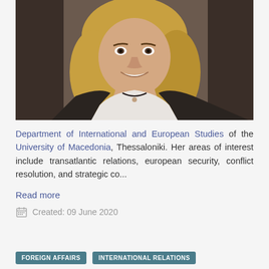[Figure (photo): Portrait photo of a blonde woman smiling, wearing a white top and dark necklace, seated in front of a dark background.]
Department of International and European Studies of the University of Macedonia, Thessaloniki. Her areas of interest include transatlantic relations, european security, conflict resolution, and strategic co...
Read more
Created: 09 June 2020
FOREIGN AFFAIRS
INTERNATIONAL RELATIONS